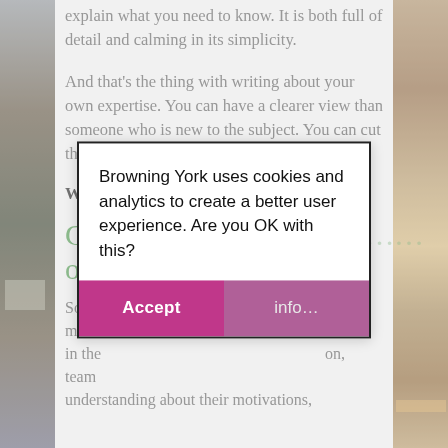explain what you need to know. It is both full of detail and calming in its simplicity.
And that's the thing with writing about your own expertise. You can have a clearer view than someone who is new to the subject. You can cut through to the things that matter most.
What could you write a blog about?
Co…ow
Some…mes in the…on, team… understanding about their motivations,
[Figure (screenshot): Cookie consent modal dialog with text 'Browning York uses cookies and analytics to create a better user experience. Are you OK with this?' and two buttons: 'Accept' (magenta/pink) and 'info...' (lighter purple)]